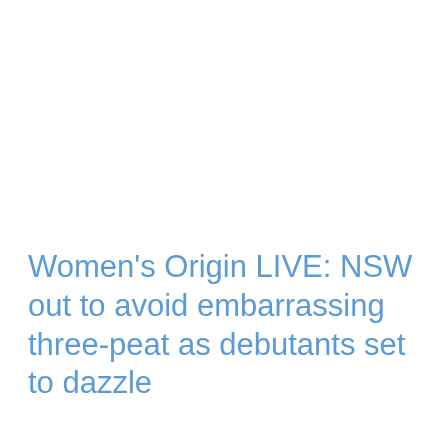Women's Origin LIVE: NSW out to avoid embarrassing three-peat as debutants set to dazzle